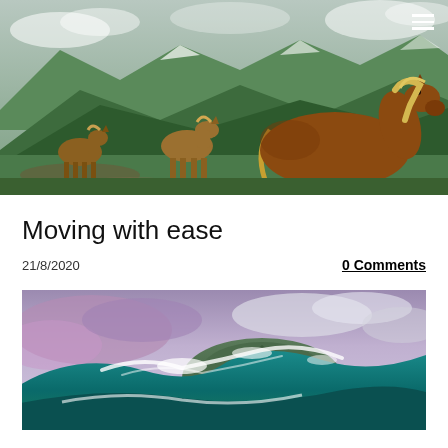[Figure (photo): Three horses standing on a mountain path with green mountain ranges and cloudy sky in the background. A hamburger menu icon is visible in the top-right corner.]
Moving with ease
21/8/2020
0 Comments
[Figure (photo): Partial view of an ocean wave crashing near a mountainous island or rock formation, with cloudy purple-toned sky above.]